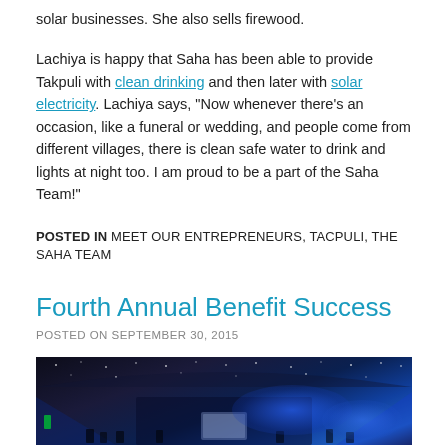solar businesses. She also sells firewood.
Lachiya is happy that Saha has been able to provide Takpuli with clean drinking and then later with solar electricity. Lachiya says, "Now whenever there's an occasion, like a funeral or wedding, and people come from different villages, there is clean safe water to drink and lights at night too. I am proud to be a part of the Saha Team!"
POSTED IN MEET OUR ENTREPRENEURS, TACPULI, THE SAHA TEAM
Fourth Annual Benefit Success
POSTED ON SEPTEMBER 30, 2015
[Figure (photo): Dark event venue with blue stage lighting and star-like ceiling lights, showing a presentation screen at the back.]